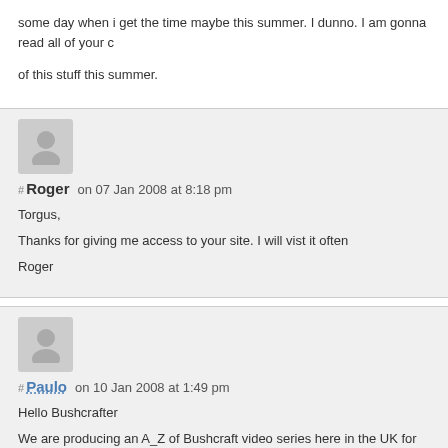some day when i get the time maybe this summer. I dunno. I am gonna read all of your of this stuff this summer.
[Figure (illustration): Gray avatar silhouette icon for user Roger]
# Roger   on 07 Jan 2008 at 8:18 pm
Torgus,
Thanks for giving me access to your site. I will vist it often
Roger
[Figure (illustration): Gray avatar silhouette icon for user Paulo]
# Paulo   on 10 Jan 2008 at 1:49 pm
Hello Bushcrafter
We are producing an A_Z of Bushcraft video series here in the UK for free distribution or link from your blog.
We aim to finish the series in April 2008 but you can watch 15 episodes to date and more RSS link here.
http://feeds.visionontv.net/a-zofbushcraft
or
http://www.azbushcraft.com